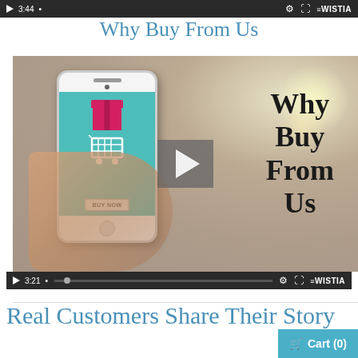[Figure (screenshot): Wistia video player top control bar showing play button, timestamp 3:44, settings gear icon, fullscreen icon, and Wistia logo]
Why Buy From Us
[Figure (screenshot): Embedded Wistia video player showing a hand holding a white smartphone with a teal shopping app screen displaying a gift box, shopping cart, and BUY NOW button. Text overlay reads 'Why Buy From Us'. A semi-transparent play button is centered on the video. Bottom control bar shows timestamp 3:21.]
Real Customers Share Their Story